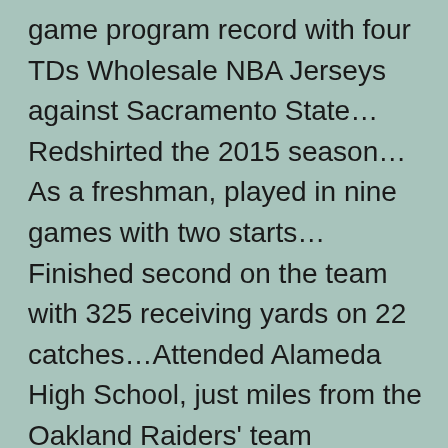game program record with four TDs Wholesale NBA Jerseys against Sacramento State…Redshirted the 2015 season…As a freshman, played in nine games with two starts…Finished second on the team with 325 receiving yards on 22 catches…Attended Alameda High School, just miles from the Oakland Raiders' team headquarters…In three varsity seasons, totaled 56 catches for 998 yards and 12 TDs…As a senior, totaled 29 catches for 577 yards and Womens Quinnen Williams Jersey nine TDs…Team captain and All-West Alameda County Conference 12 First Team selection…